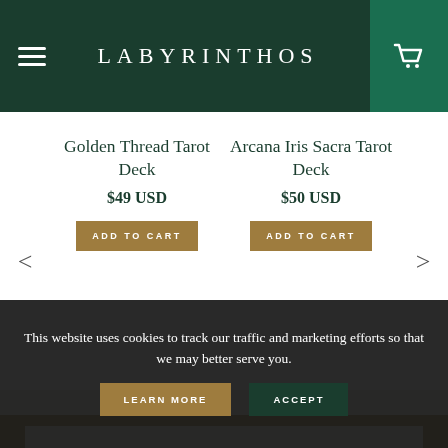LABYRINTHOS
Golden Thread Tarot Deck
$49 USD
Arcana Iris Sacra Tarot Deck
$50 USD
This website uses cookies to track our traffic and marketing efforts so that we may better serve you.